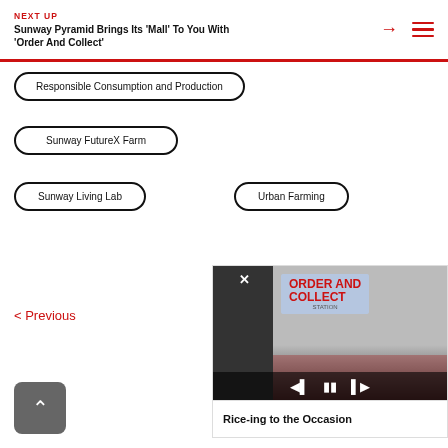NEXT UP
Sunway Pyramid Brings Its 'Mall' To You With 'Order And Collect'
Responsible Consumption and Production
Sunway FutureX Farm
Sunway Living Lab
Urban Farming
< Previous
[Figure (screenshot): Video thumbnail showing people at an Order And Collect station with media player controls]
Rice-ing to the Occasion